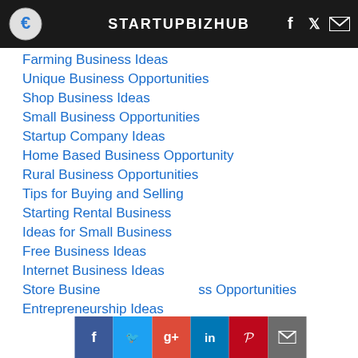STARTUPBIZHUB
Farming Business Ideas
Unique Business Opportunities
Shop Business Ideas
Small Business Opportunities
Startup Company Ideas
Home Based Business Opportunity
Rural Business Opportunities
Tips for Buying and Selling
Starting Rental Business
Ideas for Small Business
Free Business Ideas
Internet Business Ideas
Store Business Opportunities
Entrepreneurship Ideas